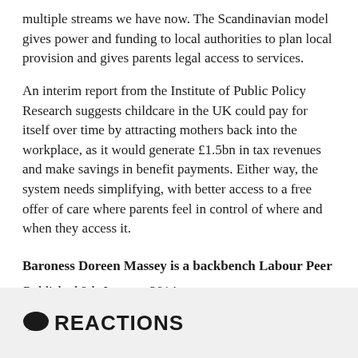multiple streams we have now. The Scandinavian model gives power and funding to local authorities to plan local provision and gives parents legal access to services.
An interim report from the Institute of Public Policy Research suggests childcare in the UK could pay for itself over time by attracting mothers back into the workplace, as it would generate £1.5bn in tax revenues and make savings in benefit payments. Either way, the system needs simplifying, with better access to a free offer of care where parents feel in control of where and when they access it.
Baroness Doreen Massey is a backbench Labour Peer
Published 9th January 2014
REACTIONS